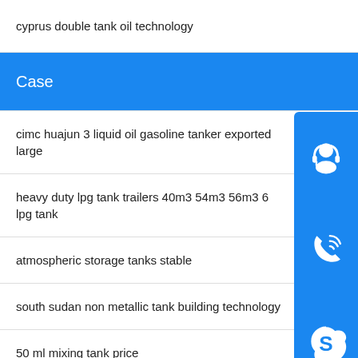cyprus double tank oil technology
Case
cimc huajun 3 liquid oil gasoline tanker exported large
heavy duty lpg tank trailers 40m3 54m3 56m3 6... lpg tank
atmospheric storage tanks stable
south sudan non metallic tank building technology
50 ml mixing tank price
...